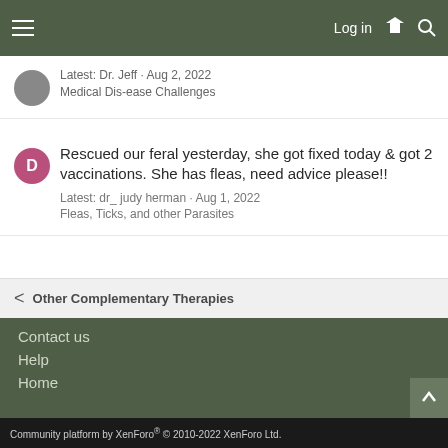Log in
Latest: Dr. Jeff · Aug 2, 2022
Medical Dis-ease Challenges
Rescued our feral yesterday, she got fixed today & got 2 vaccinations. She has fleas, need advice please!!
Latest: dr_ judy herman · Aug 1, 2022
Fleas, Ticks, and other Parasites
Other Complementary Therapies
Contact us
Help
Home
Community platform by XenForo® © 2010-2022 XenForo Ltd.